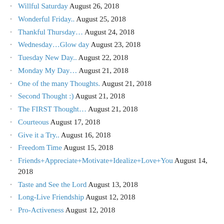Willful Saturday August 26, 2018
Wonderful Friday.. August 25, 2018
Thankful Thursday… August 24, 2018
Wednesday…Glow day August 23, 2018
Tuesday New Day.. August 22, 2018
Monday My Day… August 21, 2018
One of the many Thoughts. August 21, 2018
Second Thought :) August 21, 2018
The FIRST Thought… August 21, 2018
Courteous August 17, 2018
Give it a Try.. August 16, 2018
Freedom Time August 15, 2018
Friends+Appreciate+Motivate+Idealize+Love+You August 14, 2018
Taste and See the Lord August 13, 2018
Long-Live Friendship August 12, 2018
Pro-Activeness August 12, 2018